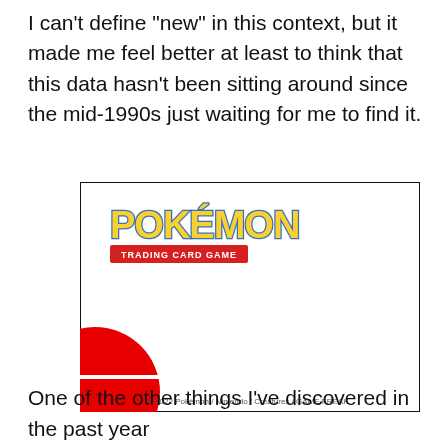I can't define "new" in this context, but it made me feel better at least to think that this data hasn't been sitting around since the mid-1990s just waiting for me to find it.
[Figure (illustration): Pokémon Trading Card Game logo on a white card background with a red Poké Ball circle partially visible at the bottom left corner. Copyright text reads ©2022 Pokémon / Nintendo / Creatures / GAME FREAK.]
One of the other things I've discovered in the past year